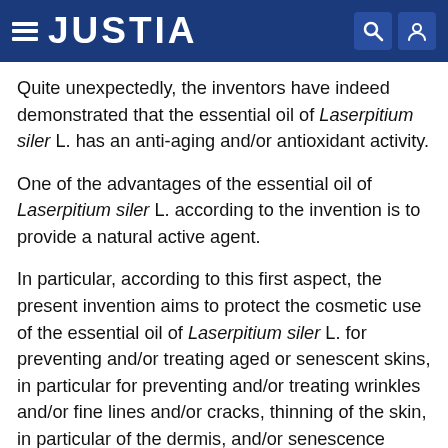JUSTIA
Quite unexpectedly, the inventors have indeed demonstrated that the essential oil of Laserpitium siler L. has an anti-aging and/or antioxidant activity.
One of the advantages of the essential oil of Laserpitium siler L. according to the invention is to provide a natural active agent.
In particular, according to this first aspect, the present invention aims to protect the cosmetic use of the essential oil of Laserpitium siler L. for preventing and/or treating aged or senescent skins, in particular for preventing and/or treating wrinkles and/or fine lines and/or cracks, thinning of the skin, in particular of the dermis, and/or senescence spots.
Also according to this first aspect, the present invention relates to the prevention and/or treatment of wrinkles